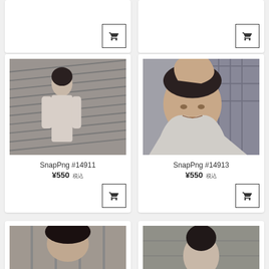[Figure (screenshot): E-commerce product grid showing photography portrait items for sale. Two rows of product cards visible plus partial top and bottom rows. Each card shows a photo, product name (SnapPng #14911, SnapPng #14913), price (¥550 税込), and add-to-cart button.]
SnapPng #14911
¥550 税込
SnapPng #14913
¥550 税込